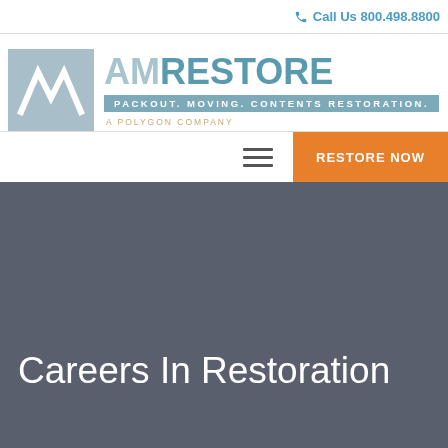Call Us 800.498.8800
[Figure (logo): AMRestore logo — AM icon in blue-grey box, AMRESTORE wordmark in teal/grey, tagline PACKOUT. MOVING. CONTENTS RESTORATION., A POLYGON COMPANY]
RESTORE NOW
Careers In Restoration